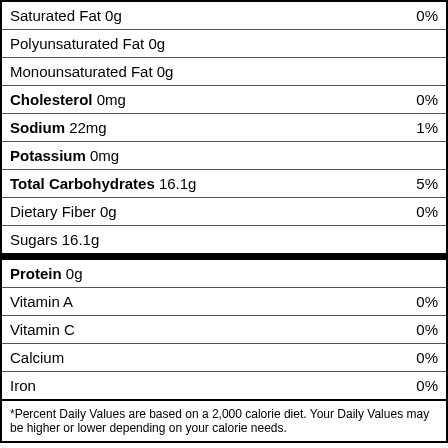| Nutrient | Daily Value |
| --- | --- |
| Saturated Fat 0g | 0% |
| Polyunsaturated Fat 0g |  |
| Monounsaturated Fat 0g |  |
| Cholesterol 0mg | 0% |
| Sodium 22mg | 1% |
| Potassium 0mg |  |
| Total Carbohydrates 16.1g | 5% |
| Dietary Fiber 0g | 0% |
| Sugars 16.1g |  |
| Protein 0g |  |
| Vitamin A | 0% |
| Vitamin C | 0% |
| Calcium | 0% |
| Iron | 0% |
*Percent Daily Values are based on a 2,000 calorie diet. Your Daily Values may be higher or lower depending on your calorie needs.